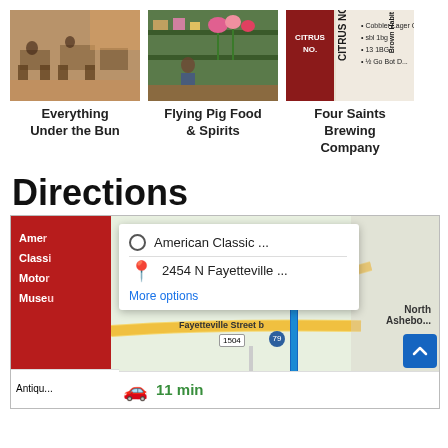[Figure (photo): Restaurant interior with people dining, tables and chairs visible]
Everything Under the Bun
[Figure (photo): Shop/restaurant interior with decorative items and flowers]
Flying Pig Food & Spirits
[Figure (photo): Beer menu board showing Citrus No., Brown Habit Brewing Company listings]
Four Saints Brewing Company
Directions
[Figure (map): Google Maps screenshot showing directions from American Classic ... to 2454 N Fayetteville ..., with a popup showing 11 min drive time. Map shows Fayetteville Street area near North Asheboro.]